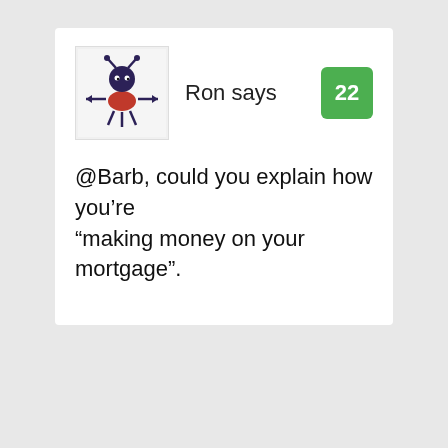[Figure (illustration): Avatar icon of a stylized cartoon ant-like creature in purple/dark blue with a red center body, with arrows pointing left and right, on a light background]
Ron says
22
@Barb, could you explain how you're “making money on your mortgage”.